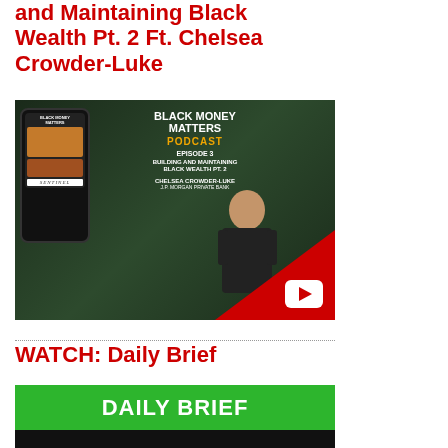and Maintaining Black Wealth Pt. 2 Ft. Chelsea Crowder-Luke
[Figure (screenshot): Black Money Matters Podcast Episode 3 - Building and Maintaining Black Wealth Pt. 2 featuring Chelsea Crowder-Luke from J.P. Morgan Private Bank. Shows phone mockup with podcast image on left, text in center on dark green background, person on right, red triangle decoration, and YouTube play button.]
WATCH: Daily Brief
[Figure (screenshot): Daily Brief video thumbnail showing green banner with white bold text 'DAILY BRIEF' and dark bottom section.]